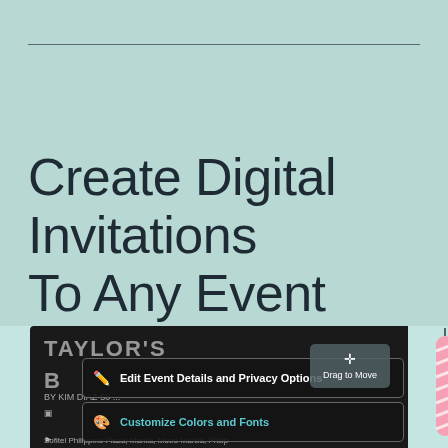Create Digital Invitations To Any Event With Erly
[Figure (screenshot): Screenshot of Erly app interface showing a dark UI overlay on a birthday invitation editor. Buttons visible: 'Edit Event Details and Privacy Options' and 'Customize Colors and Fonts'. A 'Drag to Move' tooltip is shown. A birthday candle is visible on the right side of the screenshot.]